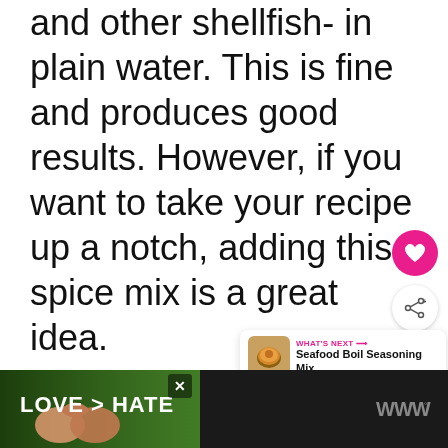and other shellfish- in plain water. This is fine and produces good results. However, if you want to take your recipe up a notch, adding this spice mix is a great idea.
[Figure (other): Pink heart/favorite button icon (circular pink button with white heart)]
[Figure (other): Share button icon (circular white button with share icon)]
[Figure (other): What's Next card showing Seafood Boil Seasoning Mix with thumbnail image]
[Figure (other): Advertisement banner with LOVE > HATE text over hands forming heart shape, with close X button and logo]